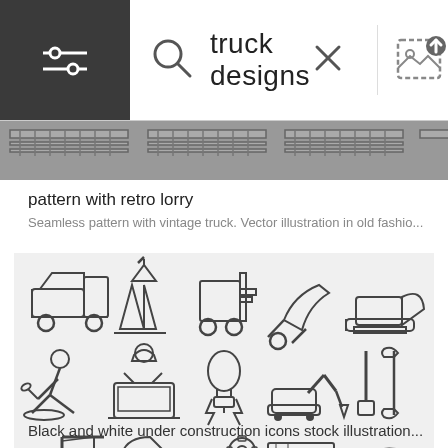[Figure (screenshot): Search bar UI showing hamburger/settings icon on dark background on left, magnifying glass search icon, text input showing 'truck designs', an X close button, and an upload image icon on the right]
[Figure (illustration): Horizontal banner strip showing partial images of trucks/lorries in a row, appearing as a dark grey/brown striped band]
pattern with retro lorry
Seamless pattern with vintage truck. Vector illustration in old fashio...
[Figure (illustration): Grid of 20 black and white under construction icons including dump truck, traffic cone, forklift, wheelbarrow, bulldozer, worker digging, worker at laptop, electrical plug with lightning, excavator, tools (brush and wrench), construction crane, skid steer loader, gears/settings, road barrier with warning sign, safety helmet with blueprints, road roller, building/silo, cement mixer truck, bricklaying trowel, and tractor]
Black and white under construction icons stock illustration...